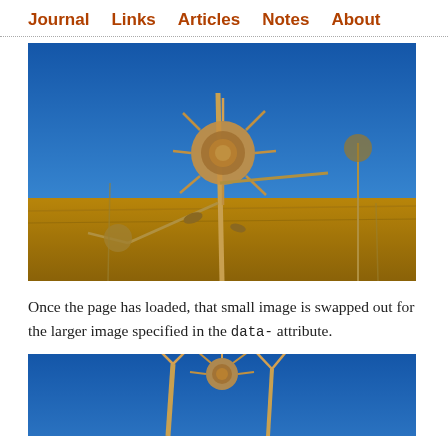Journal  Links  Articles  Notes  About
[Figure (photo): Close-up photograph of a dried spiny thistle seed head on a stalk against a vivid blue sky, with golden-brown dry grass field in the background and more dried thistle plants visible in the distance.]
Once the page has loaded, that small image is swapped out for the larger image specified in the data- attribute.
[Figure (photo): Partial view of another close-up photograph of dried thistle stalks against a blue sky, cropped at the bottom of the page.]